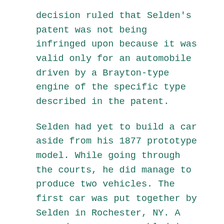decision ruled that Selden's patent was not being infringed upon because it was valid only for an automobile driven by a Brayton-type engine of the specific type described in the patent.
Selden had yet to build a car aside from his 1877 prototype model. While going through the courts, he did manage to produce two vehicles. The first car was put together by Selden in Rochester, NY. A second car was assembled in Hartford by the Electric Vehicle Company. These two cars currently exist. The Rochester vehicle can be seen at the Henry Ford Museum and the Hartford car is on display at the Connecticut State Library.
The Selden Motor Vehicle Company was officially